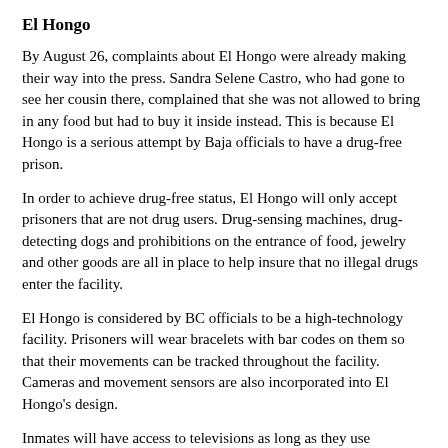El Hongo
By August 26, complaints about El Hongo were already making their way into the press. Sandra Selene Castro, who had gone to see her cousin there, complained that she was not allowed to bring in any food but had to buy it inside instead. This is because El Hongo is a serious attempt by Baja officials to have a drug-free prison.
In order to achieve drug-free status, El Hongo will only accept prisoners that are not drug users. Drug-sensing machines, drug-detecting dogs and prohibitions on the entrance of food, jewelry and other goods are all in place to help insure that no illegal drugs enter the facility.
El Hongo is considered by BC officials to be a high-technology facility. Prisoners will wear bracelets with bar codes on them so that their movements can be tracked throughout the facility. Cameras and movement sensors are also incorporated into El Hongo's design.
Inmates will have access to televisions as long as they use headphones. However, TVs brought to the prison will be disassembled to make sure that they do not contain any dangerous or illegal materials.